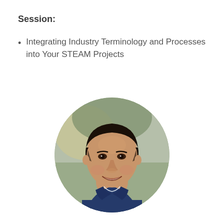Session:
Integrating Industry Terminology and Processes into Your STEAM Projects
[Figure (photo): Circular headshot portrait of a smiling man with short dark hair wearing a navy blue polo shirt with white trim, photographed outdoors with a blurred natural background.]